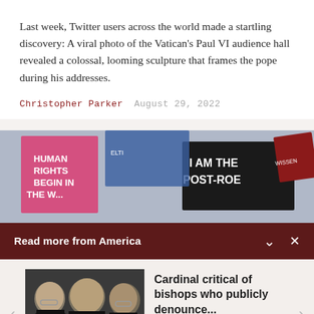Last week, Twitter users across the world made a startling discovery: A viral photo of the Vatican's Paul VI audience hall revealed a colossal, looming sculpture that frames the pope during his addresses.
Christopher Parker   August 29, 2022
[Figure (photo): Protest signs including 'Human Rights Begin In The Womb' and 'I Am The Post-Roe' visible at a rally]
Read more from America
[Figure (photo): Three Catholic bishops or cardinals in black clerical dress at a press conference]
Cardinal critical of bishops who publicly denounce...
Catholic News Service